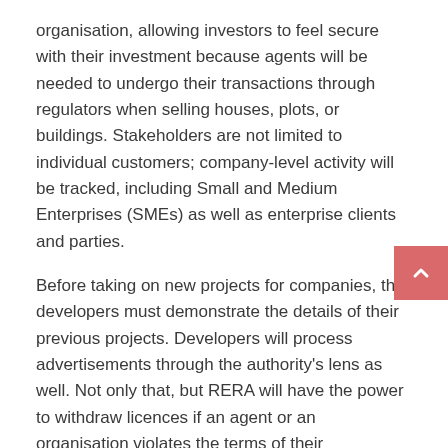organisation, allowing investors to feel secure with their investment because agents will be needed to undergo their transactions through regulators when selling houses, plots, or buildings. Stakeholders are not limited to individual customers; company-level activity will be tracked, including Small and Medium Enterprises (SMEs) as well as enterprise clients and parties.
Before taking on new projects for companies, the developers must demonstrate the details of their previous projects. Developers will process advertisements through the authority's lens as well. Not only that, but RERA will have the power to withdraw licences if an agent or an organisation violates the terms of their agreement. Even after receiving permits, this will put all employees in the industry in check.
RERA Requirements for Obtaining a License
To begin, there will be criteria attached to obtaining a